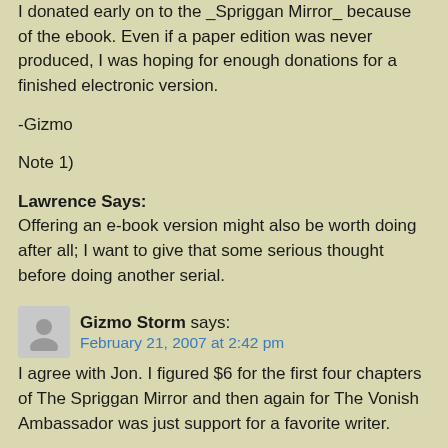I donated early on to the _Spriggan Mirror_ because of the ebook. Even if a paper edition was never produced, I was hoping for enough donations for a finished electronic version.
-Gizmo
Note 1)
Lawrence Says:
Offering an e-book version might also be worth doing after all; I want to give that some serious thought before doing another serial.
Gizmo Storm says:
February 21, 2007 at 2:42 pm
I agree with Jon. I figured $6 for the first four chapters of The Spriggan Mirror and then again for The Vonish Ambassador was just support for a favorite writer.